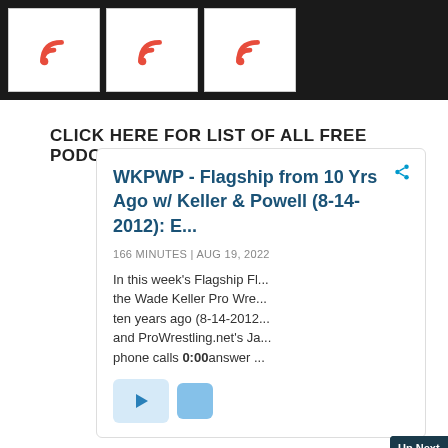[Figure (screenshot): Dark banner with three white boxes containing red RSS/podcast icons]
CLICK HERE FOR LIST OF ALL FREE PODCASTS
WKPWP - Flagship from 10 Yrs Ago w/ Keller & Powell (8-14-2012): E...
166 MINUTES | AUG 19, 2022
In this week's Flagship Fl... the Wade Keller Pro Wre... ten years ago (8-14-2012... and ProWrestling.net's Ja... phone calls and answer...
[Figure (screenshot): Video popup overlay: Up Next - WWE posts BIG Q2 financials ... Ad 1 of 1 (0:15) PWTORCH branding, muted video with Zack Heydom (@zheydomtorch) visible, NEWSWIRE footer]